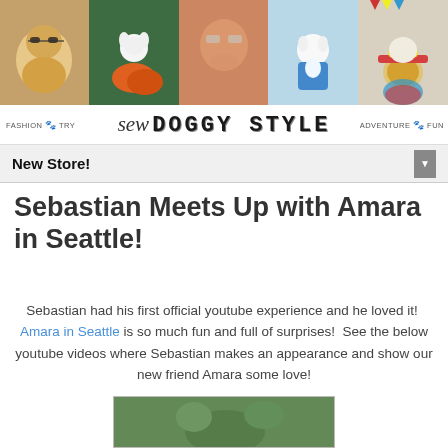[Figure (photo): Header banner with five photos of dogs in various costumes and settings, forming a horizontal strip]
sew DOGGY STYLE — FASHION 🐾 TRY | ADVENTURE 🐾 FUN
New Store!
Sebastian Meets Up with Amara in Seattle!
Sebastian had his first official youtube experience and he loved it! Amara in Seattle is so much fun and full of surprises! See the below youtube videos where Sebastian makes an appearance and show our new friend Amara some love!
[Figure (photo): Partial bottom photo preview, appears to show a dog outdoors on grass]